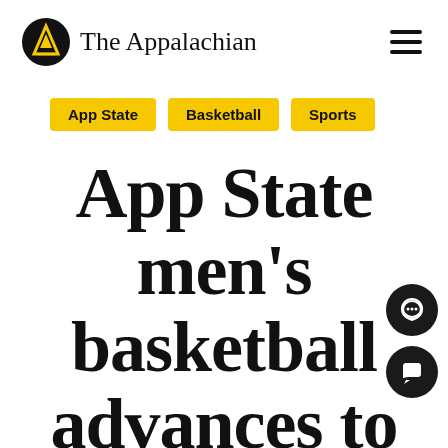The Appalachian
App State
Basketball
Sports
App State men’s basketball advances to Sun Belt